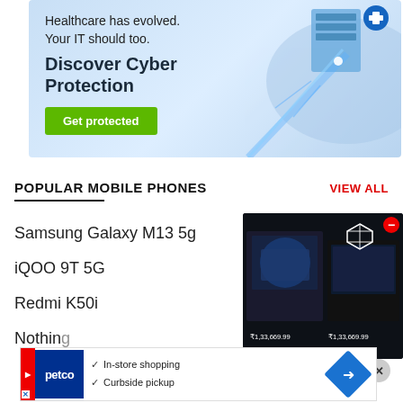[Figure (infographic): Cyber protection ad banner with light blue background, healthcare IT illustration with server graphic. Text: 'Healthcare has evolved. Your IT should too. Discover Cyber Protection' with green 'Get protected' button.]
POPULAR MOBILE PHONES
VIEW ALL
Samsung Galaxy M13 5g
iQOO 9T 5G
Redmi K50i
Nothing
[Figure (photo): Product box advertisement showing laptop/gaming products in dark packaging with price ₹1,33,669.99 shown twice, with a red minus badge and cube icon overlay]
[Figure (infographic): Petco store ad strip with blue logo, checkmarks for 'In-store shopping' and 'Curbside pickup', and a blue navigation diamond arrow icon]